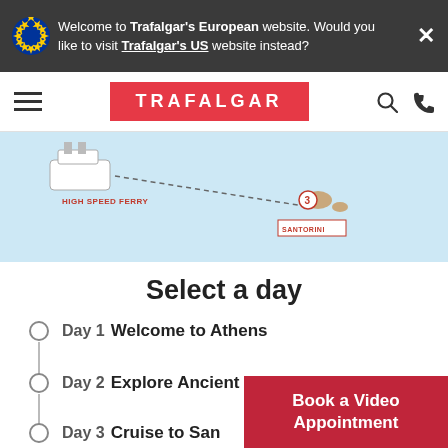Welcome to Trafalgar's European website. Would you like to visit Trafalgar's US website instead?
[Figure (logo): Trafalgar logo in red box with white text, hamburger menu and nav icons]
[Figure (map): Partial map showing high speed ferry route with dotted line to Santorini island label]
Select a day
Day 1  Welcome to Athens
Day 2  Explore Ancient Athens
Day 3  Cruise to San...
Book a Video Appointment